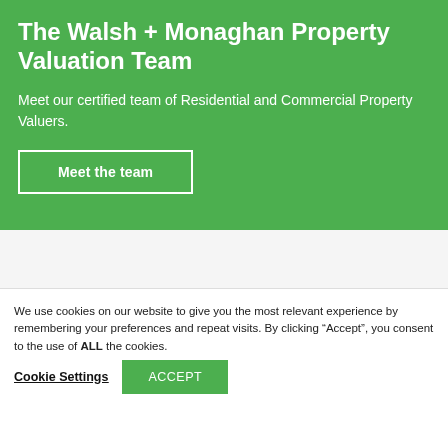The Walsh + Monaghan Property Valuation Team
Meet our certified team of Residential and Commercial Property Valuers.
Meet the team
We use cookies on our website to give you the most relevant experience by remembering your preferences and repeat visits. By clicking “Accept”, you consent to the use of ALL the cookies.
Cookie Settings
ACCEPT